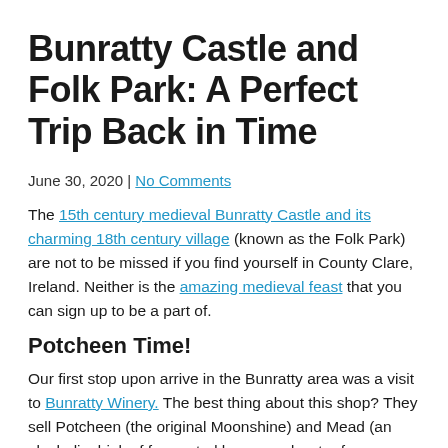Bunratty Castle and Folk Park: A Perfect Trip Back in Time
June 30, 2020 | No Comments
The 15th century medieval Bunratty Castle and its charming 18th century village (known as the Folk Park) are not to be missed if you find yourself in County Clare, Ireland. Neither is the amazing medieval feast that you can sign up to be a part of.
Potcheen Time!
Our first stop upon arrive in the Bunratty area was a visit to Bunratty Winery. The best thing about this shop? They sell Potcheen (the original Moonshine) and Mead (an alcoholic drink of fermented honey and water from ye olden days). Keep in mind